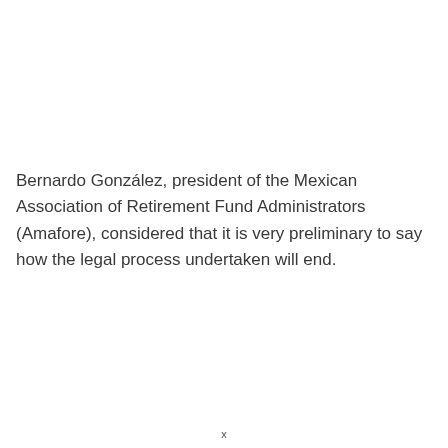Bernardo González, president of the Mexican Association of Retirement Fund Administrators (Amafore), considered that it is very preliminary to say how the legal process undertaken will end.
x